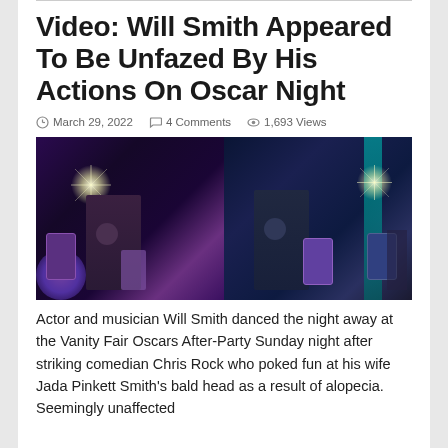Video: Will Smith Appeared To Be Unfazed By His Actions On Oscar Night
March 29, 2022   4 Comments   1,693 Views
[Figure (photo): Two side-by-side photos of Will Smith dancing and celebrating at the Vanity Fair Oscars After-Party, surrounded by crowd members taking videos on their phones, with bright light flares and purple/blue ambient lighting.]
Actor and musician Will Smith danced the night away at the Vanity Fair Oscars After-Party Sunday night after striking comedian Chris Rock who poked fun at his wife Jada Pinkett Smith's bald head as a result of alopecia. Seemingly unaffected